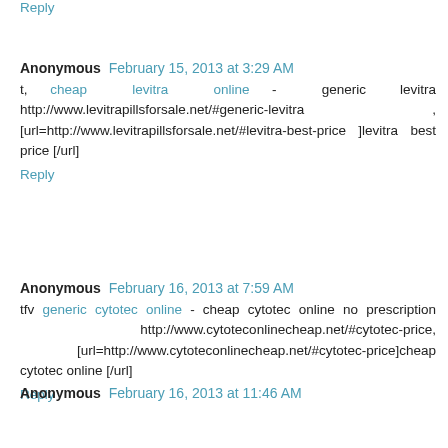Reply
Anonymous  February 15, 2013 at 3:29 AM
t, cheap levitra online - generic levitra http://www.levitrapillsforsale.net/#generic-levitra , [url=http://www.levitrapillsforsale.net/#levitra-best-price ]levitra best price [/url]
Reply
Anonymous  February 16, 2013 at 7:59 AM
tfv generic cytotec online - cheap cytotec online no prescription http://www.cytoteconlinecheap.net/#cytotec-price, [url=http://www.cytoteconlinecheap.net/#cytotec-price]cheap cytotec online [/url]
Reply
Anonymous  February 16, 2013 at 11:46 AM